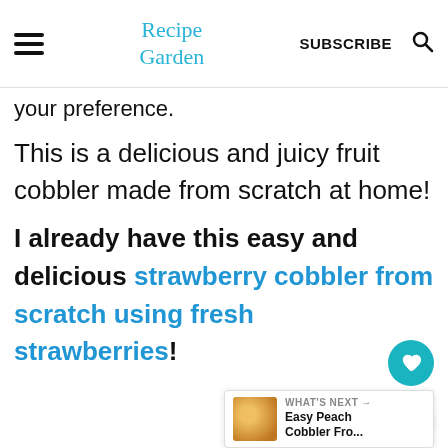Recipe Garden | SUBSCRIBE
your preference.
This is a delicious and juicy fruit cobbler made from scratch at home!
I already have this easy and delicious strawberry cobbler from scratch using fresh strawberries!